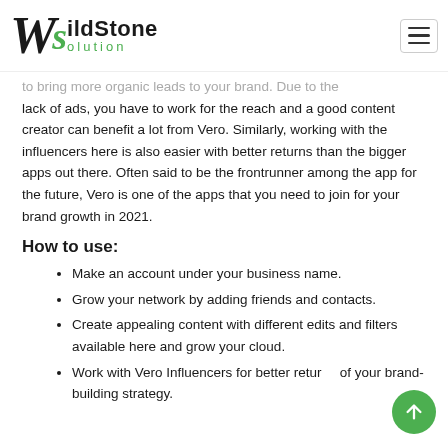WildStone Solution
to bring more organic leads to your brand. Due to the lack of ads, you have to work for the reach and a good content creator can benefit a lot from Vero. Similarly, working with the influencers here is also easier with better returns than the bigger apps out there. Often said to be the frontrunner among the app for the future, Vero is one of the apps that you need to join for your brand growth in 2021.
How to use:
Make an account under your business name.
Grow your network by adding friends and contacts.
Create appealing content with different edits and filters available here and grow your cloud.
Work with Vero Influencers for better returns of your brand-building strategy.